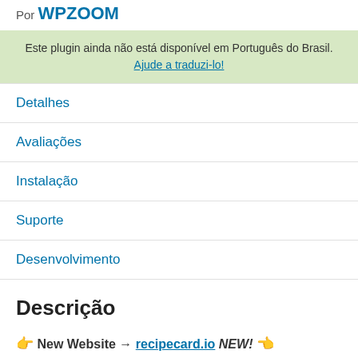Por WPZOOM
Este plugin ainda não está disponível em Português do Brasil. Ajude a traduzi-lo!
Detalhes
Avaliações
Instalação
Suporte
Desenvolvimento
Descrição
👉 New Website → recipecard.io NEW! 👈
⭐ Recipe Card Blocks PRO NOW AVAILABLE! ⭐